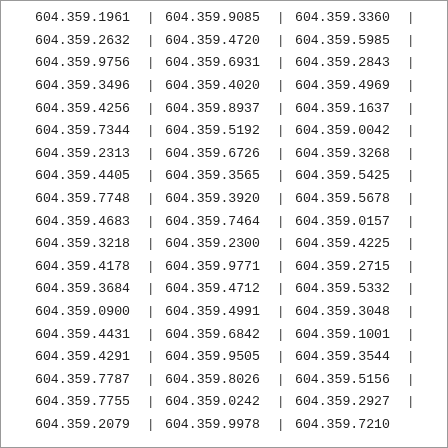| Col1 | Sep1 | Col2 | Sep2 | Col3 | Sep3 |
| --- | --- | --- | --- | --- | --- |
| 604.359.1961 | | | 604.359.9085 | | | 604.359.3360 | | |
| 604.359.2632 | | | 604.359.4720 | | | 604.359.5985 | | |
| 604.359.9756 | | | 604.359.6931 | | | 604.359.2843 | | |
| 604.359.3496 | | | 604.359.4020 | | | 604.359.4969 | | |
| 604.359.4256 | | | 604.359.8937 | | | 604.359.1637 | | |
| 604.359.7344 | | | 604.359.5192 | | | 604.359.0042 | | |
| 604.359.2313 | | | 604.359.6726 | | | 604.359.3268 | | |
| 604.359.4405 | | | 604.359.3565 | | | 604.359.5425 | | |
| 604.359.7748 | | | 604.359.3920 | | | 604.359.5678 | | |
| 604.359.4683 | | | 604.359.7464 | | | 604.359.0157 | | |
| 604.359.3218 | | | 604.359.2300 | | | 604.359.4225 | | |
| 604.359.4178 | | | 604.359.9771 | | | 604.359.2715 | | |
| 604.359.3684 | | | 604.359.4712 | | | 604.359.5332 | | |
| 604.359.0900 | | | 604.359.4991 | | | 604.359.3048 | | |
| 604.359.4431 | | | 604.359.6842 | | | 604.359.1001 | | |
| 604.359.4291 | | | 604.359.9505 | | | 604.359.3544 | | |
| 604.359.7787 | | | 604.359.8026 | | | 604.359.5156 | | |
| 604.359.7755 | | | 604.359.0242 | | | 604.359.2927 | | |
| 604.359.2079 | | | 604.359.9978 | | | 604.359.7210 |  |